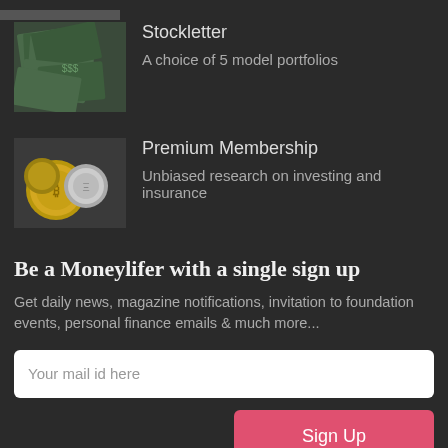[Figure (photo): Photo of scattered US dollar bills]
Stockletter
A choice of 5 model portfolios
[Figure (photo): Photo of gold and silver cryptocurrency coins including Bitcoin and Ethereum]
Premium Membership
Unbiased research on investing and insurance
Be a Moneylifer with a single sign up
Get daily news, magazine notifications, invitation to foundation events, personal finance emails & much more...
Your mail id here
Sign Up